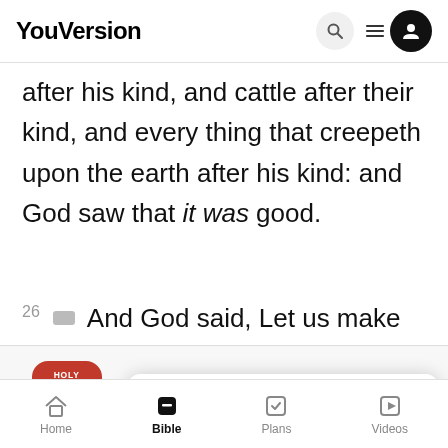YouVersion
after his kind, and cattle after their kind, and every thing that creepeth upon the earth after his kind: and God saw that it was good.
26  And God said, Let us make man in our
[Figure (screenshot): App banner for The Bible App with icon, star rating 7.9M, and Download button]
of the a...
YouVersion uses cookies to personalize your experience. By using our website, you accept our use of cookies as described in our Privacy Policy.
earth, a...
upon the earth.  So God created man in his
Home  Bible  Plans  Videos